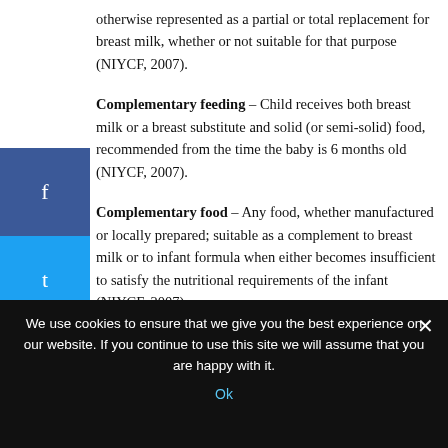otherwise represented as a partial or total replacement for breast milk, whether or not suitable for that purpose (NIYCF, 2007).
Complementary feeding – Child receives both breast milk or a breast substitute and solid (or semi-solid) food, recommended from the time the baby is 6 months old (NIYCF, 2007).
Complementary food – Any food, whether manufactured or locally prepared; suitable as a complement to breast milk or to infant formula when either becomes insufficient to satisfy the nutritional requirements of the infant (NIYCF, 2007).
Mixed feeding – Partial breast feeding and giving some other
We use cookies to ensure that we give you the best experience on our website. If you continue to use this site we will assume that you are happy with it.